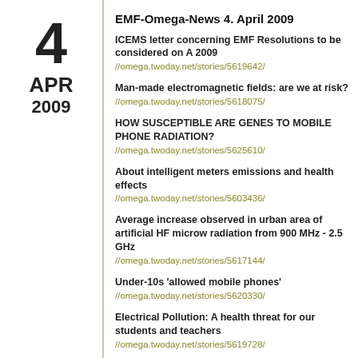EMF-Omega-News 4. April 2009
ICEMS letter concerning EMF Resolutions to be considered on A 2009
//omega.twoday.net/stories/5619642/
Man-made electromagnetic fields: are we at risk?
//omega.twoday.net/stories/5618075/
HOW SUSCEPTIBLE ARE GENES TO MOBILE PHONE RADIATION?
//omega.twoday.net/stories/5625610/
About intelligent meters emissions and health effects
//omega.twoday.net/stories/5603436/
Average increase observed in urban area of artificial HF microw radiation from 900 MHz - 2.5 GHz
//omega.twoday.net/stories/5617144/
Under-10s 'allowed mobile phones'
//omega.twoday.net/stories/5620330/
Electrical Pollution: A health threat for our students and teachers
//omega.twoday.net/stories/5619728/
Scientists speak out on mobile phone, cancer link
//omega.twoday.net/stories/5603357/